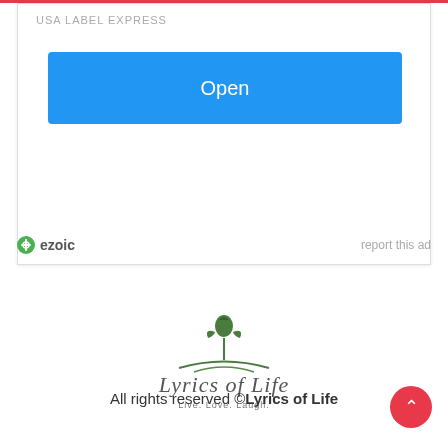[Figure (screenshot): Advertisement box with 'USA LABEL EXPRESS' label and a blue 'Open' button]
ezoic   report this ad
[Figure (logo): Lyrics of Life logo — green rose illustration above cursive text 'Lyrics of Life' with tagline 'Live. Love. Laugh.']
All rights reserved ©Lyrics of Life